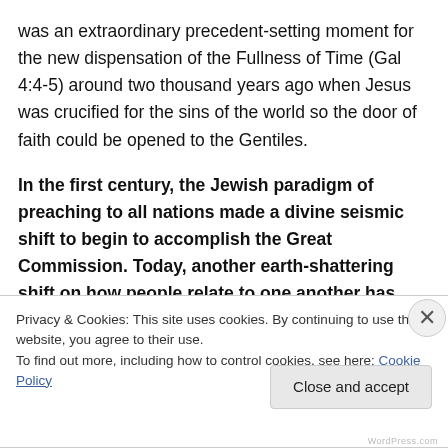was an extraordinary precedent-setting moment for the new dispensation of the Fullness of Time (Gal 4:4-5) around two thousand years ago when Jesus was crucified for the sins of the world so the door of faith could be opened to the Gentiles.
In the first century, the Jewish paradigm of preaching to all nations made a divine seismic shift to begin to accomplish the Great Commission. Today, another earth-shattering shift on how people relate to one another has already begun to take place, and like in
Privacy & Cookies: This site uses cookies. By continuing to use this website, you agree to their use.
To find out more, including how to control cookies, see here: Cookie Policy
Close and accept